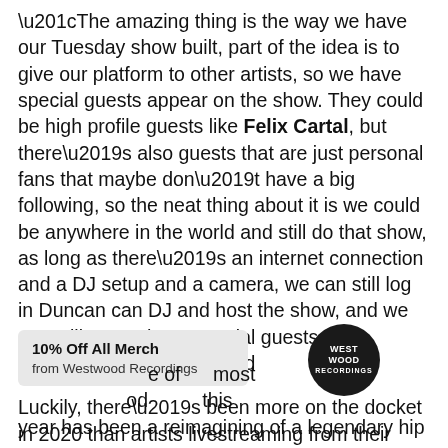“The amazing thing is the way we have our Tuesday show built, part of the idea is to give our platform to other artists, so we have special guests appear on the show. They could be high profile guests like Felix Cartal, but there’s also guests that are just personal fans that maybe don’t have a big following, so the neat thing about it is we could be anywhere in the world and still do that show, as long as there’s an internet connection and a DJ setup and a camera, we can still log in Duncan can DJ and host the show, and we can still cut to these special guests. The flexibility is amazing.”
Luckily, there’s been more on the docket in 2020 than artists livestreaming from their home of most period this year has been a reimagining of a legendary hip
10% Off All Merch
from Westwood Recordings
[Figure (logo): Westwood Recordings circular logo — black circle with white text reading WESTWOOD RECORDINGS]